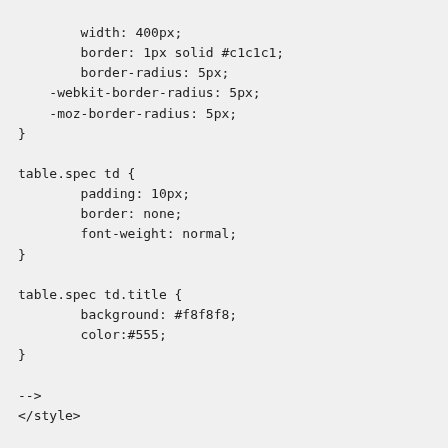width: 400px;
        border: 1px solid #c1c1c1;
        border-radius: 5px;
    -webkit-border-radius: 5px;
    -moz-border-radius: 5px;
}

table.spec td {
        padding: 10px;
        border: none;
        font-weight: normal;
}

table.spec td.title {
        background: #f8f8f8;
        color:#555;
}

-->
</style>



<table class="spec" cellpadding="0" cellspacing="0">
     <tbody>
          <tr>
          <td class="title">● □□□□　</td>
     </tr>
     <tr>
          <td>□□□□□□□□□□□□□</td>
     </tr>
     <tr>
          <td class="title">● □□□</td>
     </tr>
     <tr>
          <td>□□□□　□□□44cm+4cm(□□□□□□□) <br>
          □□□□　□11 x 11mm</td>
     </tr>
     </t